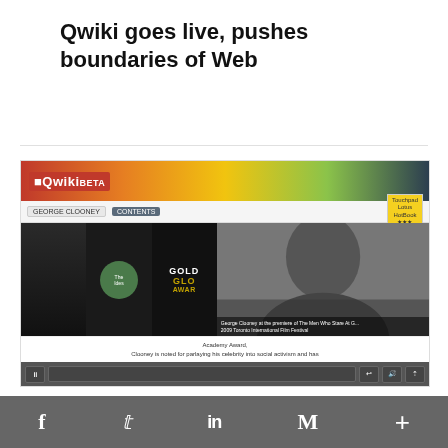Qwiki goes live, pushes boundaries of Web
[Figure (screenshot): Screenshot of Qwiki web interface showing George Clooney page with filmstrip of images including Golden Globe Awards and photo of George Clooney, with playback controls and caption text.]
JANUARY 20, 2011
Qwiki closes $8M round led by Eduardo...
f  Twitter  in  M  +